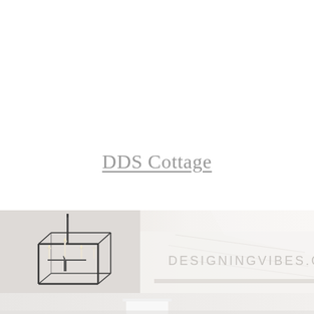DDS Cottage
[Figure (photo): A wide horizontal banner photo showing a modern geometric lantern-style chandelier with candle-style lights on the left side, and a bright white interior space with molding details on the right. A watermark reading DESIGNINGVIBES.COM appears in light gray over the right portion of the image.]
[Figure (photo): Bottom strip showing a continuation of the bright white interior room with what appears to be a white table or furniture piece.]